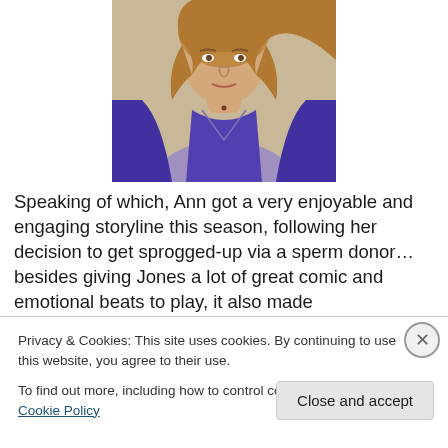[Figure (photo): Woman with blonde wavy hair wearing a purple cardigan over a light purple/lavender top, necklace visible, cropped to upper torso, beige/tan background]
Speaking of which, Ann got a very enjoyable and engaging storyline this season, following her decision to get sprogged-up via a sperm donor… besides giving Jones a lot of great comic and emotional beats to play, it also made
Privacy & Cookies: This site uses cookies. By continuing to use this website, you agree to their use.
To find out more, including how to control cookies, see here: Cookie Policy
Close and accept